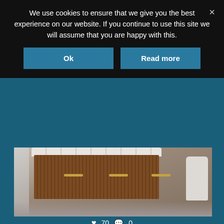We use cookies to ensure that we give you the best experience on our website. If you continue to use this site we will assume that you are happy with this.
Ok
Read more
[Figure (photo): Bathroom vanity with dark wood ribbed cabinet and gold handles with white towels stacked on top, wall-mounted toilet visible on right, gray tile floor and walls]
♥ 70   💬 0
[Figure (photo): Architectural floor plan showing bathroom layout with tile pattern, plant, and large text 'THE' in red]